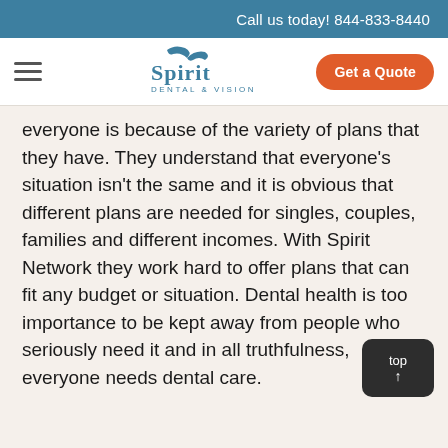Call us today! 844-833-8440
[Figure (logo): Spirit Dental & Vision logo with stylized bird/checkmark above the word Spirit]
everyone is because of the variety of plans that they have. They understand that everyone's situation isn't the same and it is obvious that different plans are needed for singles, couples, families and different incomes. With Spirit Network they work hard to offer plans that can fit any budget or situation. Dental health is too importance to be kept away from people who seriously need it and in all truthfulness, everyone needs dental care.